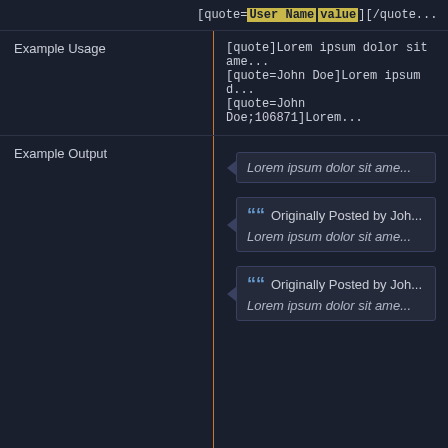[quote=User Name value][/quote...
|  |  |
| --- | --- |
| Example Usage | [quote]Lorem ipsum dolor sit ame...
[quote=John Doe]Lorem ipsum d...
[quote=John Doe;106871]Lorem... |
| Example Output | Lorem ipsum dolor sit ame...

Originally Posted by Joh... Lorem ipsum dolor sit ame...

Originally Posted by Joh... Lorem ipsum dolor sit ame... |
Highlight
The [highlight] tag allows you to emphasize your text.
|  |  |
| --- | --- |
| Usage | [highlight]value[/highlight] |
| Example Usage | [highlight]this text is highlighted[/... |